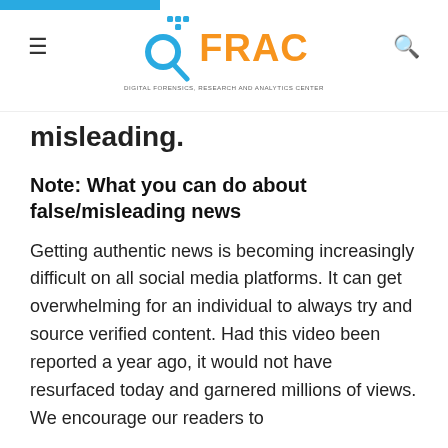DFRAC — Digital Forensics, Research and Analytics Center
misleading.
Note: What you can do about false/misleading news
Getting authentic news is becoming increasingly difficult on all social media platforms. It can get overwhelming for an individual to always try and source verified content. Had this video been reported a year ago, it would not have resurfaced today and garnered millions of views. We encourage our readers to